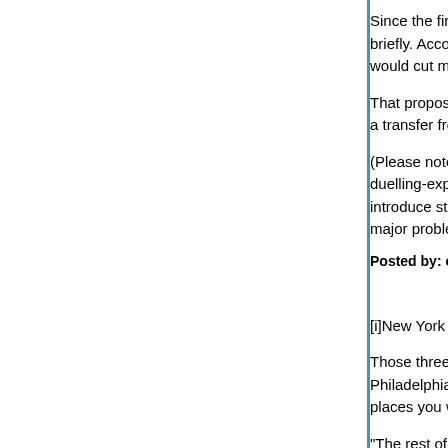Since the first two are obviously political tactics, I'll address the third briefly. According to the CBO, Orrin Hatch's proposal would cut medical expenditures by 0.5% (that's o…
That proposal makes no distinction between baby… a transfer from malpractice plaintiffs to malpractic…
(Please note that I don't oppose changes to medi… duelling-experts process is the most expensive a… introduce standards of care — I do oppose thoug… major problems intact.)
Posted by: elm | January 21, 2010 at 10:41 AM
[i]New York City, Chicago, San Francisco, and the…
Those three places are no more alike than Clevel… Philadelphia are, or Salt Lake City and Richmond… places you want to pick.
"The rest of the country" is not some big undiffe… each other yet somehow differs in some significa… and San Francisco," and if someone with whom y… to it that way you'd almost certainly take umbrage…